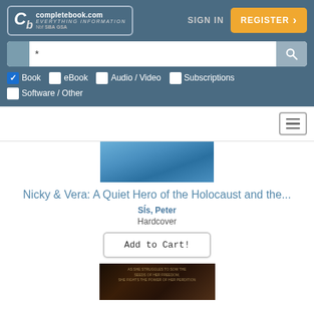[Figure (screenshot): completebook.com website header with logo, SIGN IN link, and REGISTER button]
[Figure (screenshot): Search bar with asterisk input and search icon button]
Book (checked), eBook, Audio / Video, Subscriptions, Software / Other
[Figure (screenshot): Navigation bar with hamburger menu icon]
[Figure (photo): Book cover image - blue toned cover]
Nicky & Vera: A Quiet Hero of the Holocaust and the...
Sís, Peter
Hardcover
[Figure (screenshot): Add to Cart! button]
[Figure (photo): Book cover image - dark toned cover with text overlay]